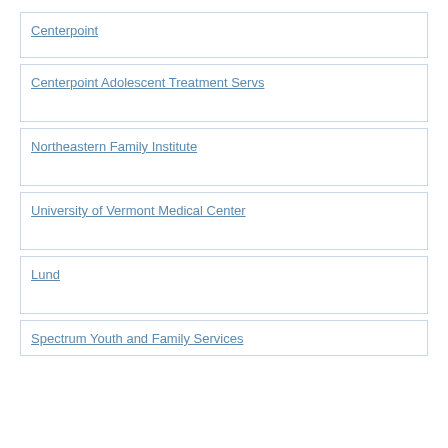Centerpoint
Centerpoint Adolescent Treatment Servs
Northeastern Family Institute
University of Vermont Medical Center
Lund
Spectrum Youth and Family Services